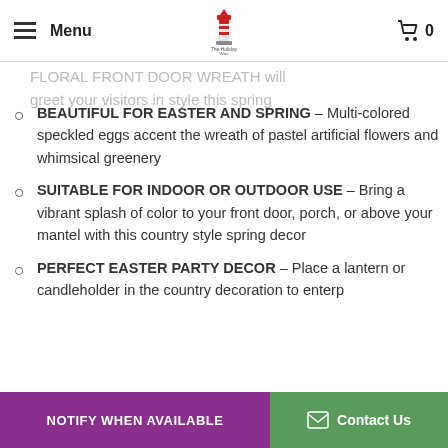Menu | The Holiday Way logo | Cart 0
FLORAL FRONT DOOR WREATH will greet your visitors in style this spring
BEAUTIFUL FOR EASTER AND SPRING - Multi-colored speckled eggs accent the wreath of pastel artificial flowers and whimsical greenery
SUITABLE FOR INDOOR OR OUTDOOR USE - Bring a vibrant splash of color to your front door, porch, or above your mantel with this country style spring decor
PERFECT EASTER PARTY DECOR - Place a lantern or candleholder in the country decoration to enterp...